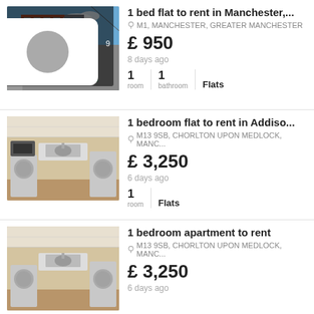[Figure (photo): Exterior photo of a red brick high-rise apartment building in Manchester with blue sky background]
1 bed flat to rent in Manchester,...
M1, MANCHESTER, GREATER MANCHESTER
£ 950
8 days ago
1 room | 1 bathroom | Flats
[Figure (photo): Interior photo of a small room with sink, washing machine and appliances]
1 bedroom flat to rent in Addiso...
M13 9SB, CHORLTON UPON MEDLOCK, MANC...
£ 3,250
6 days ago
1 room | Flats
[Figure (photo): Interior photo of a small room with sink, washing machine and appliances, similar to second listing]
1 bedroom apartment to rent
M13 9SB, CHORLTON UPON MEDLOCK, MANC...
£ 3,250
6 days ago